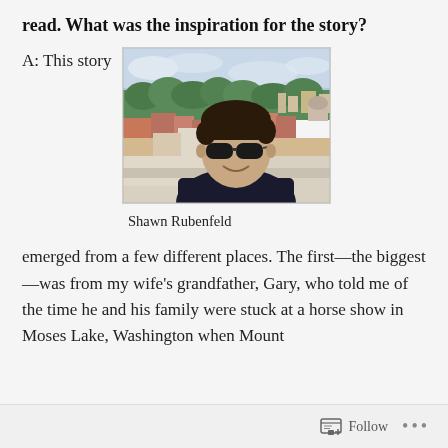read. What was the inspiration for the story?
A: This story
[Figure (photo): Selfie of Shawn Rubenfeld with sunglasses on a rooftop overlooking a European city with red rooftops, trees, and a skyline.]
Shawn Rubenfeld
emerged from a few different places. The first—the biggest—was from my wife's grandfather, Gary, who told me of the time he and his family were stuck at a horse show in Moses Lake, Washington when Mount
Follow ...